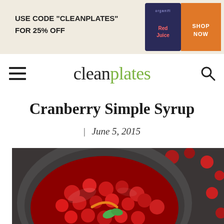[Figure (infographic): Advertisement banner for Organifi Red Juice: text 'USE CODE "CLEANPLATES" FOR 25% OFF' on beige background with product image and orange 'SHOP NOW' button]
cleanplates
Cranberry Simple Syrup
| June 5, 2015
[Figure (photo): Overhead close-up photo of cranberry simple syrup in a dark round bowl, with whole cranberries, a piece of orange peel, and a mint leaf garnish, on a dark slate background with scattered cranberries around the bowl]